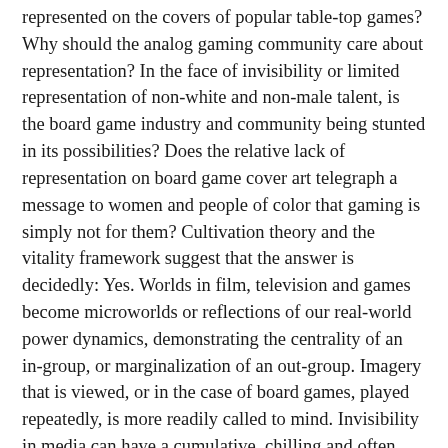represented on the covers of popular table-top games? Why should the analog gaming community care about representation? In the face of invisibility or limited representation of non-white and non-male talent, is the board game industry and community being stunted in its possibilities? Does the relative lack of representation on board game cover art telegraph a message to women and people of color that gaming is simply not for them? Cultivation theory and the vitality framework suggest that the answer is decidedly: Yes. Worlds in film, television and games become microworlds or reflections of our real-world power dynamics, demonstrating the centrality of an in-group, or marginalization of an out-group. Imagery that is viewed, or in the case of board games, played repeatedly, is more readily called to mind. Invisibility in media can have a cumulative, chilling and often, profoundly negative impact on marginalized groups.
Media, such as board games, shape our cognition. We make and design what we know, reflecting what we see. We don't